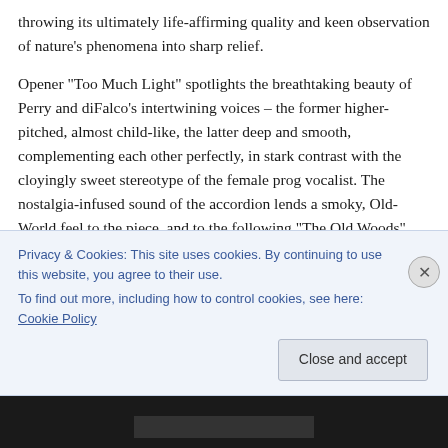throwing its ultimately life-affirming quality and keen observation of nature's phenomena into sharp relief.
Opener “Too Much Light” spotlights the breathtaking beauty of Perry and diFalco’s intertwining voices – the former higher-pitched, almost child-like, the latter deep and smooth, complementing each other perfectly, in stark contrast with the cloyingly sweet stereotype of the female prog vocalist. The nostalgia-infused sound of the accordion lends a smoky, Old-World feel to the piece, and to the following “The Old Woods”,  somewhat similar in
Privacy & Cookies: This site uses cookies. By continuing to use this website, you agree to their use.
To find out more, including how to control cookies, see here: Cookie Policy
Close and accept